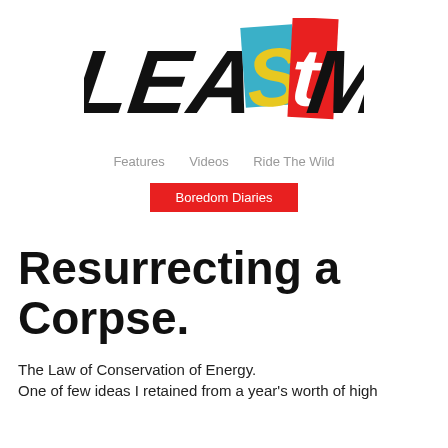[Figure (logo): LeastMost logo in bold black italic letters with 'S' in yellow on blue background and 't' in white on red background]
Features   Videos   Ride The Wild
Boredom Diaries
Resurrecting a Corpse.
The Law of Conservation of Energy.
One of few ideas I retained from a year's worth of high